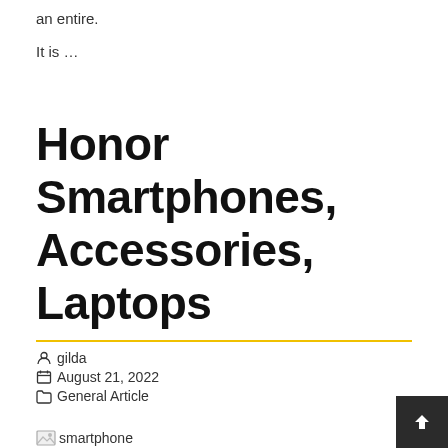an entire.
It is ...
Honor Smartphones, Accessories, Laptops
gilda
August 21, 2022
General Article
[Figure (photo): Broken image placeholder with alt text 'smartphone']
The 5g-module Will Be Disabled In Some